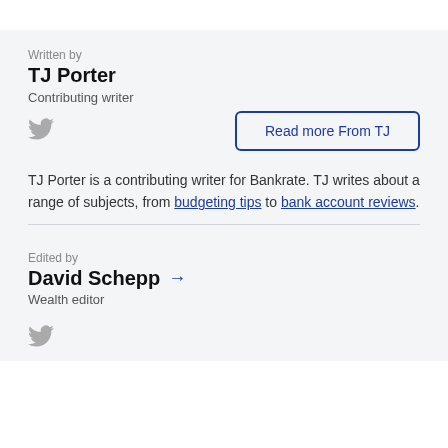Written by
TJ Porter
Contributing writer
Read more From TJ
TJ Porter is a contributing writer for Bankrate. TJ writes about a range of subjects, from budgeting tips to bank account reviews.
Edited by
David Schepp
Wealth editor